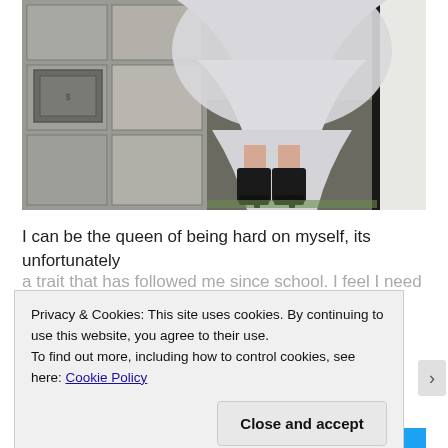[Figure (photo): Photo of a person from waist down wearing a white/light gray flowing dress and black ankle boots, standing on a stone/concrete sidewalk with a white wall on the right side.]
I can be the queen of being hard on myself, its unfortunately
a trait that has followed me since school. I feel I need to try
Privacy & Cookies: This site uses cookies. By continuing to use this website, you agree to their use.
To find out more, including how to control cookies, see here: Cookie Policy
Close and accept